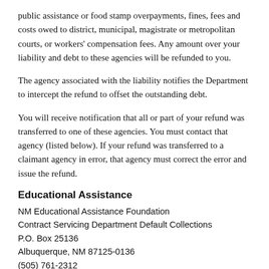public assistance or food stamp overpayments, fines, fees and costs owed to district, municipal, magistrate or metropolitan courts, or workers' compensation fees. Any amount over your liability and debt to these agencies will be refunded to you.
The agency associated with the liability notifies the Department to intercept the refund to offset the outstanding debt.
You will receive notification that all or part of your refund was transferred to one of these agencies. You must contact that agency (listed below). If your refund was transferred to a claimant agency in error, that agency must correct the error and issue the refund.
Educational Assistance
NM Educational Assistance Foundation
Contract Servicing Department Default Collections
P.O. Box 25136
Albuquerque, NM 87125-0136
(505) 761-2312
Human Services Department
Child Support Enforcement Division